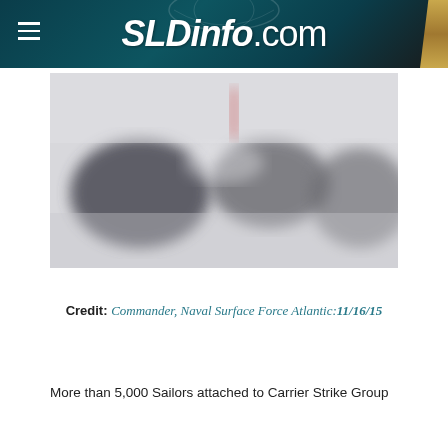SLDinfo.com
[Figure (photo): Blurred/redacted photograph of naval vessels or military equipment, likely ships at a naval port or at sea. Colors are muted grays and whites.]
Credit: Commander, Naval Surface Force Atlantic: 11/16/15
More than 5,000 Sailors attached to Carrier Strike Group